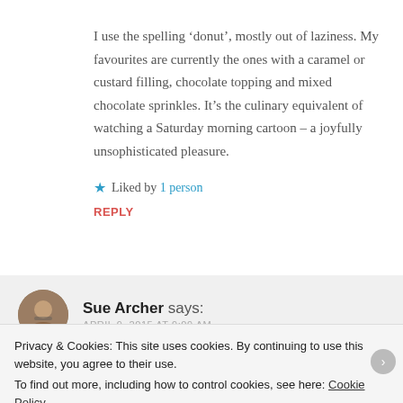I use the spelling ‘donut’, mostly out of laziness. My favourites are currently the ones with a caramel or custard filling, chocolate topping and mixed chocolate sprinkles. It’s the culinary equivalent of watching a Saturday morning cartoon – a joyfully unsophisticated pleasure.
★ Liked by 1 person
REPLY
Sue Archer says:
Privacy & Cookies: This site uses cookies. By continuing to use this website, you agree to their use. To find out more, including how to control cookies, see here: Cookie Policy
Close and accept